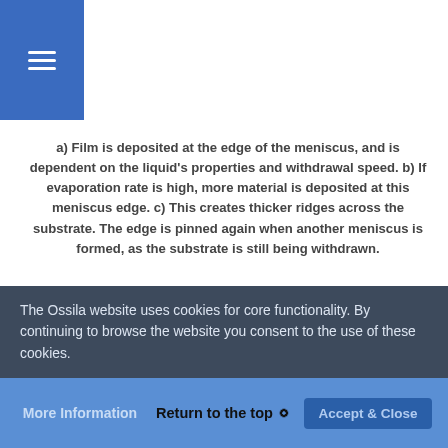a) Film is deposited at the edge of the meniscus, and is dependent on the liquid's properties and withdrawal speed. b) If evaporation rate is high, more material is deposited at this meniscus edge. c) This creates thicker ridges across the substrate. The edge is pinned again when another meniscus is formed, as the substrate is still being withdrawn.
There are two ways to reduce this effect: increase the withdrawal speed, or reduce the ambient temperature. Thick films can be produced in both regions, but these “coffee-ring” effects are only seen in the capillary region. By increasing the withdrawal speed, you negate this problem. To enter the draining region, withdrawal speeds of over 1mm/s are recommended. If you are using a particularly diluted ink, this may also involve increasing the concentration to achieve a uniform coverage on your film. It must
The Ossila website uses cookies for core functionality. By continuing to browse the website you consent to the use of these cookies.
Return to the top ⭘   Accept & Close